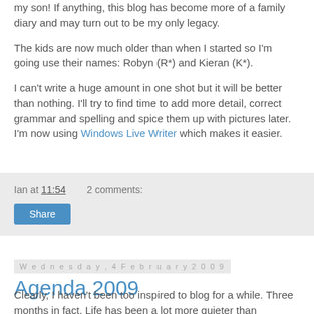my son! If anything, this blog has become more of a family diary and may turn out to be my only legacy.
The kids are now much older than when I started so I'm going use their names: Robyn (R*) and Kieran (K*).
I can't write a huge amount in one shot but it will be better than nothing. I'll try to find time to add more detail, correct grammar and spelling and spice them up with pictures later. I'm now using Windows Live Writer which makes it easier.
Ian at 11:54   2 comments:
Share
Wednesday, 4 February 2009
Agenda 2009
Clearly, I haven't been too inspired to blog for a while. Three months in fact. Life has been a lot more quieter than tramping around the world. I still haven't finished sorting out